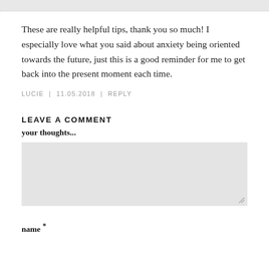These are really helpful tips, thank you so much! I especially love what you said about anxiety being oriented towards the future, just this is a good reminder for me to get back into the present moment each time.
LUCIE | 11.05.2018 | REPLY
LEAVE A COMMENT
your thoughts...
name *